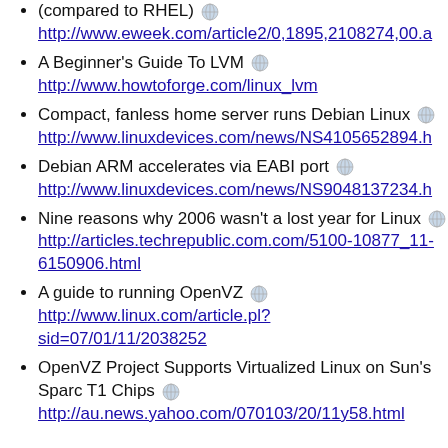(compared to RHEL) http://www.eweek.com/article2/0,1895,2108274,00.a
A Beginner's Guide To LVM http://www.howtoforge.com/linux_lvm
Compact, fanless home server runs Debian Linux http://www.linuxdevices.com/news/NS4105652894.h
Debian ARM accelerates via EABI port http://www.linuxdevices.com/news/NS9048137234.h
Nine reasons why 2006 wasn't a lost year for Linux http://articles.techrepublic.com.com/5100-10877_11-6150906.html
A guide to running OpenVZ http://www.linux.com/article.pl?sid=07/01/11/2038252
OpenVZ Project Supports Virtualized Linux on Sun's Sparc T1 Chips http://au.news.yahoo.com/070103/20/11y58.html